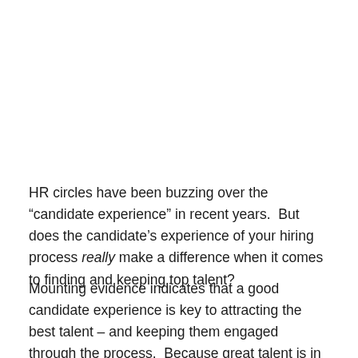HR circles have been buzzing over the “candidate experience” in recent years.  But does the candidate’s experience of your hiring process really make a difference when it comes to finding and keeping top talent?
Mounting evidence indicates that a good candidate experience is key to attracting the best talent – and keeping them engaged through the process.  Because great talent is in high demand, making sure you keep